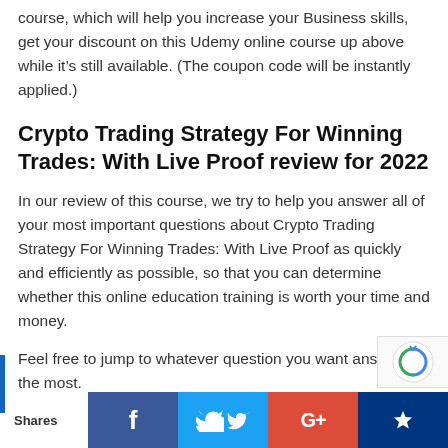course, which will help you increase your Business skills, get your discount on this Udemy online course up above while it's still available. (The coupon code will be instantly applied.)
Crypto Trading Strategy For Winning Trades: With Live Proof review for 2022
In our review of this course, we try to help you answer all of your most important questions about Crypto Trading Strategy For Winning Trades: With Live Proof as quickly and efficiently as possible, so that you can determine whether this online education training is worth your time and money.
Feel free to jump to whatever question you want answered the most.